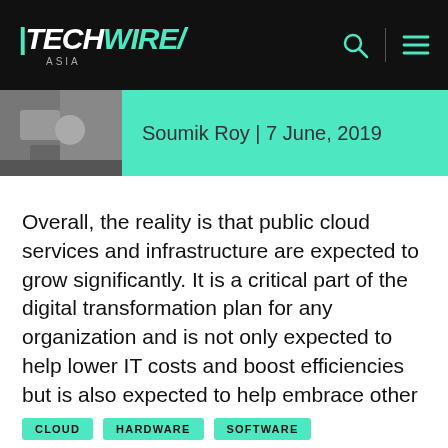TECHWIRE ASIA
Soumik Roy | 7 June, 2019
Overall, the reality is that public cloud services and infrastructure are expected to grow significantly. It is a critical part of the digital transformation plan for any organization and is not only expected to help lower IT costs and boost efficiencies but is also expected to help embrace other emerging technologies such as big data and artificial intelligence.
CLOUD  HARDWARE  SOFTWARE